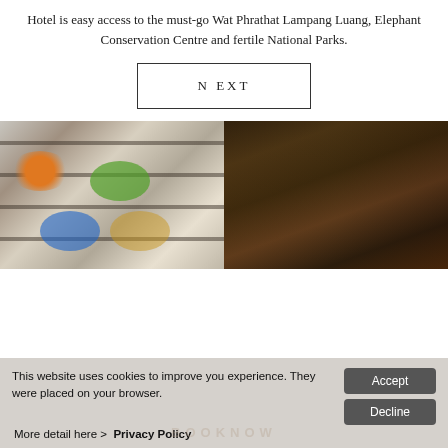Hotel is easy access to the must-go Wat Phrathat Lampang Luang, Elephant Conservation Centre and fertile National Parks.
NEXT
[Figure (photo): Photo of colorful ceramic or pottery items stacked on shelves in a workshop]
[Figure (photo): Photo of people playing traditional musical instruments in a dimly lit setting]
This website uses cookies to improve you experience. They were placed on your browser. More detail here > Privacy Policy